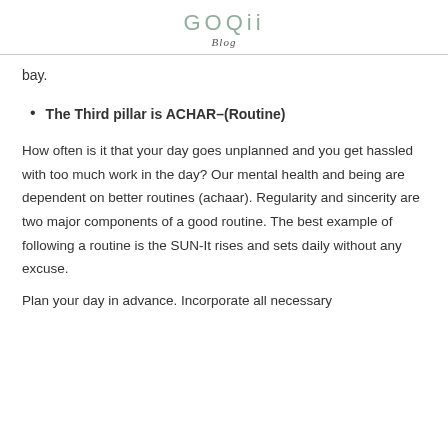GOQii
Blog
bay.
The Third pillar is ACHAR–(Routine)
How often is it that your day goes unplanned and you get hassled with too much work in the day? Our mental health and being are dependent on better routines (achaar). Regularity and sincerity are two major components of a good routine. The best example of following a routine is the SUN-It rises and sets daily without any excuse.
Plan your day in advance. Incorporate all necessary